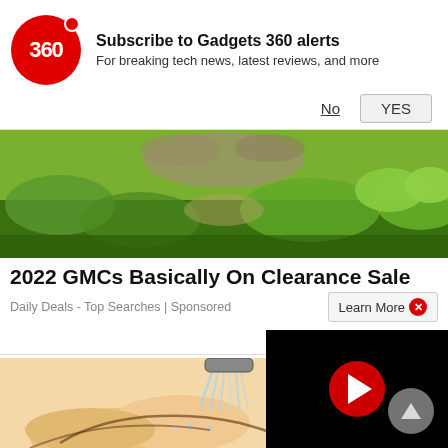[Figure (logo): Gadgets 360 logo — red circle with '360' text in white]
Subscribe to Gadgets 360 alerts
For breaking tech news, latest reviews, and more
No
YES
[Figure (photo): Outdoor nature/road scene with green vegetation and rocky terrain]
2022 GMCs Basically On Clearance Sale
Daily Deals - Top Searches | Sponsored
Learn More ✕
[Figure (illustration): Cartoon/illustration of hands being washed under a shower or tap with water splashing]
[Figure (screenshot): Video player overlay with black background and red play button circle]